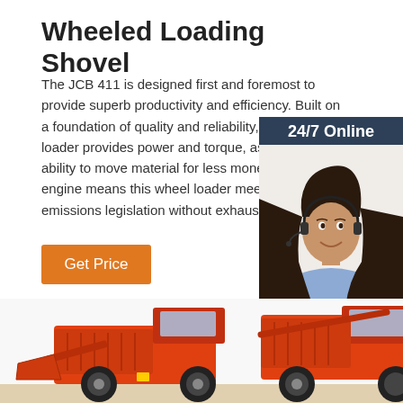Wheeled Loading Shovel
The JCB 411 is designed first and foremost to provide superb productivity and efficiency. Built on a foundation of quality and reliability, this wheel loader provides power and torque, as well as the ability to move material for less money. Its EcoMax engine means this wheel loader meets Tier 4 emissions legislation without exhaust ...
[Figure (photo): Orange button labeled 'Get Price']
[Figure (infographic): Sidebar with '24/7 Online' header, woman wearing headset, 'Click here for free chat!' text, and orange QUOTATION button on dark blue background]
[Figure (photo): Partial view of orange wheeled loading shovel / wheel loader machinery at the bottom of the page]